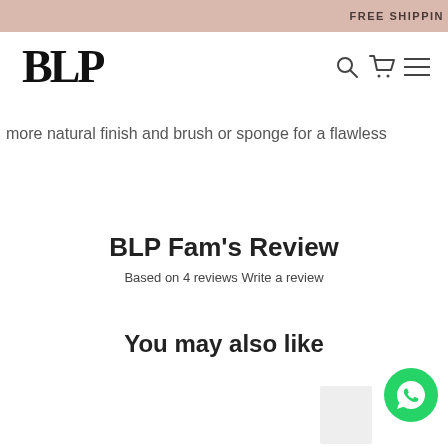FREE SHIPPING
[Figure (logo): BLP brand logo in bold serif font]
[Figure (other): Navigation icons: search, cart, hamburger menu]
more natural finish and brush or sponge for a flawless
BLP Fam's Review
Based on 4 reviews Write a review
You may also like
[Figure (other): WhatsApp chat button, green circle with phone handset icon]